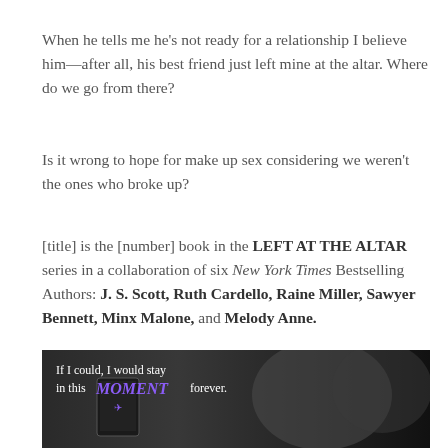When he tells me he's not ready for a relationship I believe him—after all, his best friend just left mine at the altar. Where do we go from there?
Is it wrong to hope for make up sex considering we weren't the ones who broke up?
[title] is the [number] book in the LEFT AT THE ALTAR series in a collaboration of six New York Times Bestselling Authors: J. S. Scott, Ruth Cardello, Raine Miller, Sawyer Bennett, Minx Malone, and Melody Anne.
[Figure (photo): Book promotional image with text overlay: 'If I could, I would stay in this MOMENT forever.' Black and white photo of a couple about to kiss, with a book cover/tablet visible at the lower left.]